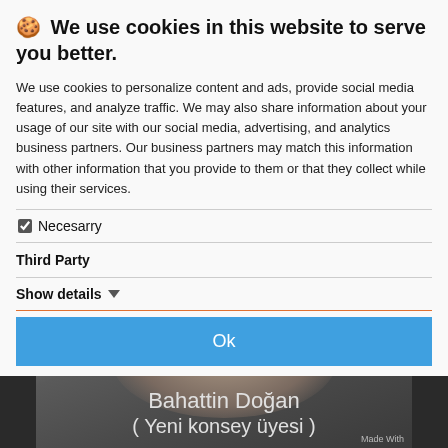🍪 We use cookies in this website to serve you better.
We use cookies to personalize content and ads, provide social media features, and analyze traffic. We may also share information about your usage of our site with our social media, advertising, and analytics business partners. Our business partners may match this information with other information that you provide to them or that they collect while using their services.
☑ Necesarry
Third Party
Show details ▼
Ok
[Figure (photo): Video thumbnail showing a man (Bahattin Doğan, Yeni konsey üyesi) with a replay/refresh button overlay]